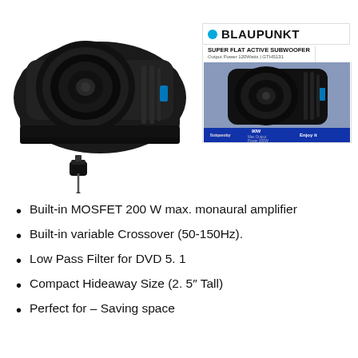[Figure (photo): Main product photo of Blaupunkt black flat active subwoofer with remote control cable, and product box image showing BLAUPUNKT SUPER FLAT ACTIVE SUBWOOFER, Output Power 120Watts, GTHS131]
Built-in MOSFET 200 W max. monaural amplifier
Built-in variable Crossover (50-150Hz).
Low Pass Filter for DVD 5. 1
Compact Hideaway Size (2. 5″ Tall)
Perfect for – Saving space